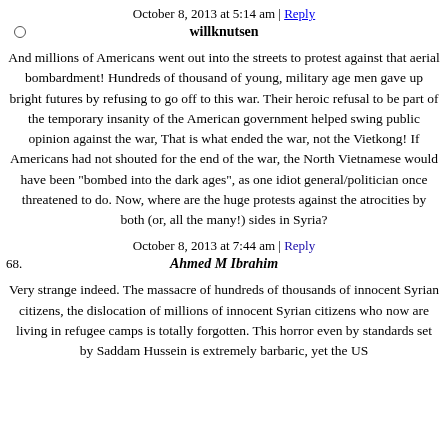October 8, 2013 at 5:14 am | Reply
willknutsen
And millions of Americans went out into the streets to protest against that aerial bombardment! Hundreds of thousand of young, military age men gave up bright futures by refusing to go off to this war. Their heroic refusal to be part of the temporary insanity of the American government helped swing public opinion against the war, That is what ended the war, not the Vietkong! If Americans had not shouted for the end of the war, the North Vietnamese would have been "bombed into the dark ages", as one idiot general/politician once threatened to do. Now, where are the huge protests against the atrocities by both (or, all the many!) sides in Syria?
October 8, 2013 at 7:44 am | Reply
68. Ahmed M Ibrahim
Very strange indeed. The massacre of hundreds of thousands of innocent Syrian citizens, the dislocation of millions of innocent Syrian citizens who now are living in refugee camps is totally forgotten. This horror even by standards set by Saddam Hussein is extremely barbaric, yet the US